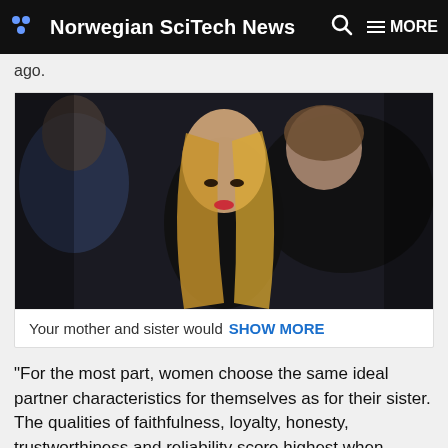Norwegian SciTech News  MORE
ago.
[Figure (photo): A woman with long blonde hair in a black outfit looking jealously at a couple - a man and a woman in black who are close together, dark studio background]
Your mother and sister would  SHOW MORE
“For the most part, women choose the same ideal partner characteristics for themselves as for their sister. The qualities of faithfulness, loyalty, honesty, trustworthiness and reliability score highest when